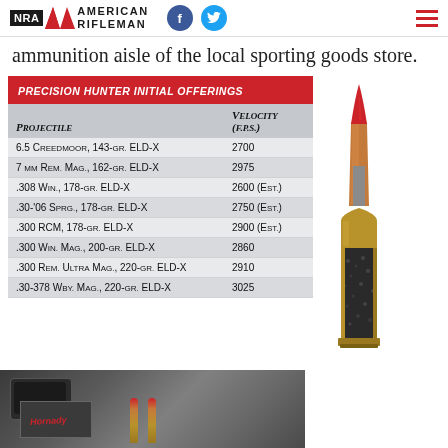NRA American Rifleman
ammunition aisle of the local sporting goods store.
| Projectile | Velocity (F.P.S.) |
| --- | --- |
| 6.5 Creedmoor, 143-gr. ELD-X | 2700 |
| 7 mm Rem. Mag., 162-gr. ELD-X | 2975 |
| .308 Win., 178-gr. ELD-X | 2600 (Est.) |
| .30-'06 Sprg., 178-gr. ELD-X | 2750 (Est.) |
| .300 RCM, 178-gr. ELD-X | 2900 (Est.) |
| .300 Win. Mag., 200-gr. ELD-X | 2860 |
| .300 Rem. Ultra Mag., 220-gr. ELD-X | 2910 |
| .30-378 Wby. Mag., 220-gr. ELD-X | 3025 |
[Figure (illustration): Cross-section illustration of a Hornady ELD-X bullet showing red polymer tip, copper jacket, lead core, and brass casing with powder]
[Figure (photo): Photo of a rifle scope, Hornady branded box, and two bullets on a surface]